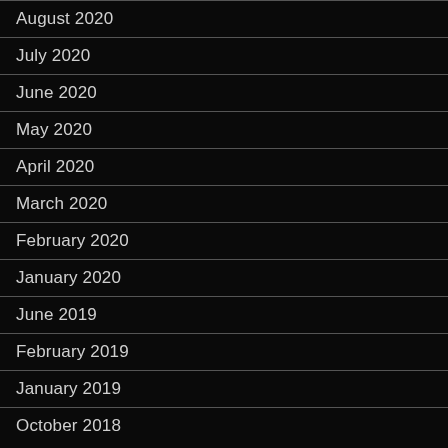August 2020
July 2020
June 2020
May 2020
April 2020
March 2020
February 2020
January 2020
June 2019
February 2019
January 2019
October 2018